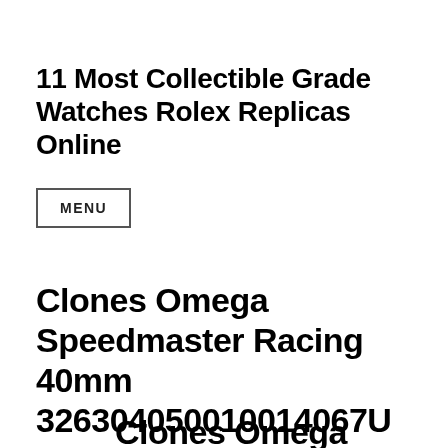11 Most Collectible Grade Watches Rolex Replicas Online
MENU
Clones Omega Speedmaster Racing 40mm 326304050010014067U Uk
Clones Omega